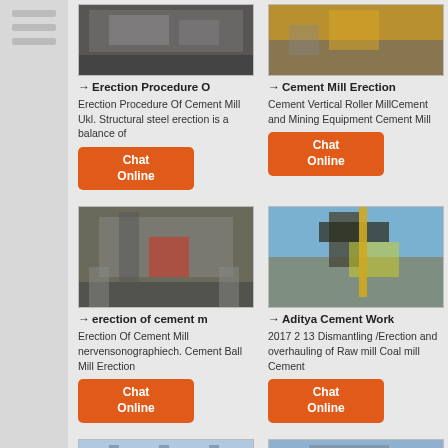[Figure (photo): Industrial cement mill erection photo (top left)]
→ Erection Procedure O
Erection Procedure Of Cement Mill Ukl. Structural steel erection is a balance of
Chat Online
[Figure (photo): Cement mill erection photo (top right)]
→ Cement Mill Erection
Cement Vertical Roller MillCement and Mining Equipment Cement Mill
Chat Online
[Figure (photo): Erection of cement mill construction site photo]
→ erection of cement m
Erection Of Cement Mill nervensonographiech. Cement Ball Mill Erection
Chat Online
[Figure (photo): Aditya Cement Works industrial equipment photo]
→ Aditya Cement Work
2017 2 13 Dismantling /Erection and overhauling of Raw mill Coal mill Cement
Chat Online
[Figure (photo): Bottom left partial photo - structural framework]
[Figure (photo): Bottom right partial photo - industrial site]